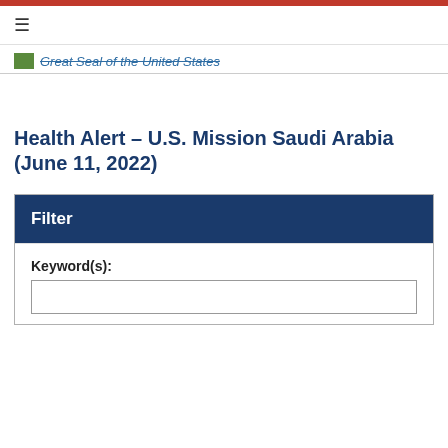Great Seal of the United States
Health Alert – U.S. Mission Saudi Arabia (June 11, 2022)
Filter
Keyword(s):